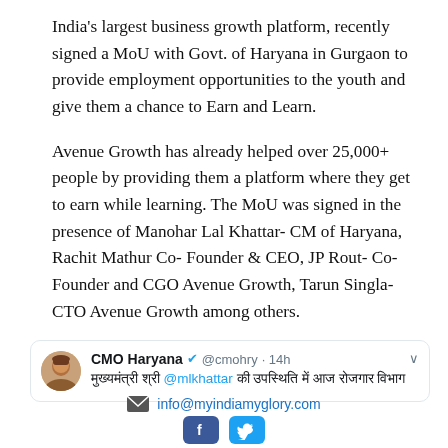India's largest business growth platform, recently signed a MoU with Govt. of Haryana in Gurgaon to provide employment opportunities to the youth and give them a chance to Earn and Learn.
Avenue Growth has already helped over 25,000+ people by providing them a platform where they get to earn while learning. The MoU was signed in the presence of Manohar Lal Khattar- CM of Haryana, Rachit Mathur Co- Founder & CEO, JP Rout- Co-Founder and CGO Avenue Growth, Tarun Singla- CTO Avenue Growth among others.
[Figure (screenshot): Tweet from CMO Haryana (@cmohry) 14h ago with avatar of Manohar Lal Khattar and Hindi text mentioning @mlkhattar]
info@myindiamyglory.com
[Figure (logo): Facebook and Twitter social sharing buttons]